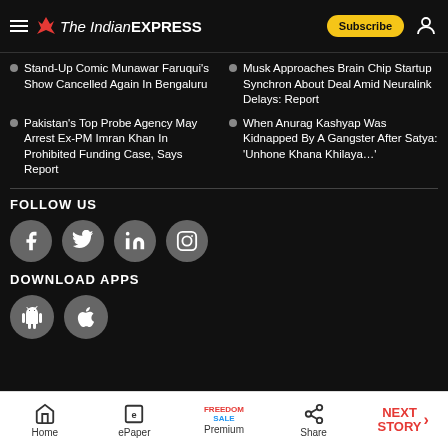The Indian EXPRESS
Stand-Up Comic Munawar Faruqui's Show Cancelled Again In Bengaluru
Musk Approaches Brain Chip Startup Synchron About Deal Amid Neuralink Delays: Report
Pakistan's Top Probe Agency May Arrest Ex-PM Imran Khan In Prohibited Funding Case, Says Report
When Anurag Kashyap Was Kidnapped By A Gangster After Satya: 'Unhone Khana Khilaya…'
FOLLOW US
[Figure (infographic): Social media icons: Facebook, Twitter, LinkedIn, Instagram]
DOWNLOAD APPS
[Figure (infographic): App download icons: Android, iOS]
Home | ePaper | Premium | Share | NEXT STORY